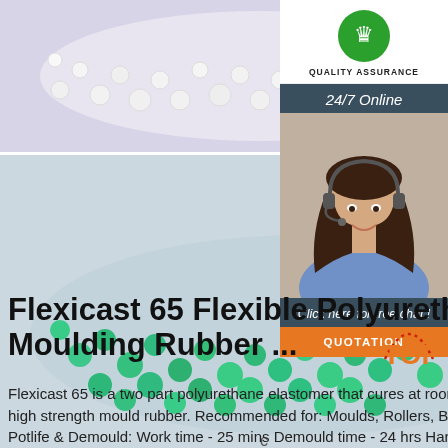[Figure (photo): White polymer pellets spilling from a container on a light purple background]
[Figure (photo): Green polymer pellets spilling from a glass jar on a light purple background]
[Figure (logo): Green crown icon for Quality Assurance badge]
QUALITY ASSURANCE
24/7 Online
[Figure (photo): Customer service agent, woman with headset, smiling]
Click here for free chat !
QUOTATION
Flexicast 65 Flexible Polyurethane Moulding Rubber ...
Flexicast 65 is a two part polyurethane elastomer that cures at room temperature to a flexible, high strength mould rubber. Recommended for: Moulds, Rollers, Bumpers, Mounts, Props Potlife & Demould: Work time - 25 mins Demould time - 24 hrs Hardness & Type: Shore
c
[Figure (logo): TOP badge with red dotted arc and orange text]